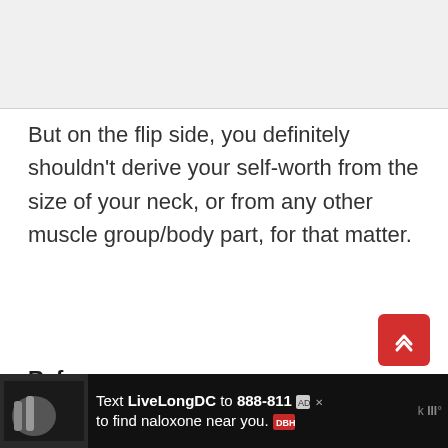[Figure (photo): Partially visible image at top of page, appears to be a photo related to the article content, shown as a light gray placeholder area.]
But on the flip side, you definitely shouldn't derive your self-worth from the size of your neck, or from any other muscle group/body part, for that matter.
References
[Figure (photo): Advertisement banner at the bottom: Text LiveLongDC to 888-811 to find naloxone near you. Red and white advertisement with DBH logo.]